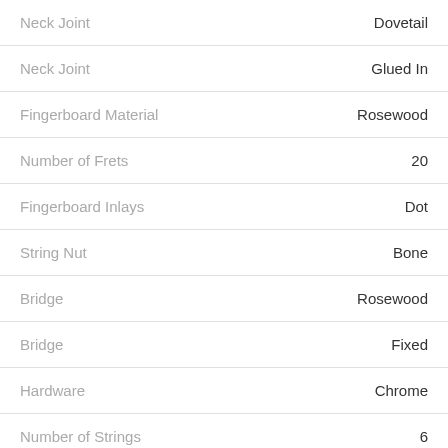| Attribute | Value |
| --- | --- |
| Neck Joint | Dovetail |
| Neck Joint | Glued In |
| Fingerboard Material | Rosewood |
| Number of Frets | 20 |
| Fingerboard Inlays | Dot |
| String Nut | Bone |
| Bridge | Rosewood |
| Bridge | Fixed |
| Hardware | Chrome |
| Number of Strings | 6 |